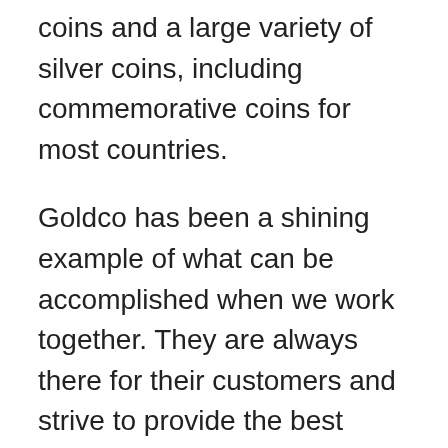coins and a large variety of silver coins, including commemorative coins for most countries.
Goldco has been a shining example of what can be accomplished when we work together. They are always there for their customers and strive to provide the best quality product at an affordable price with outstanding customer service, which makes them one of our favorite companies!